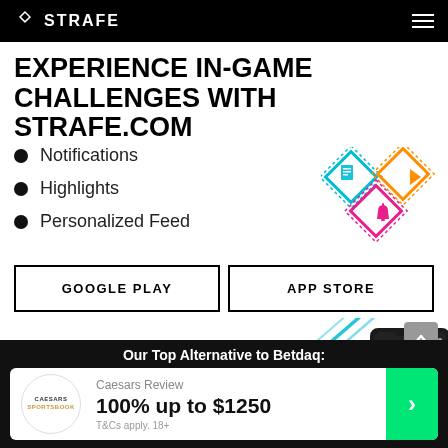STRAFE
EXPERIENCE IN-GAME CHALLENGES WITH STRAFE.COM
Notifications
Highlights
Personalized Feed
[Figure (logo): Strafe app icons: three diamond shapes in teal, orange, and pink with document, play, and bell icons]
GOOGLE PLAY
APP STORE
[Figure (photo): Partial view of a smartphone with teal/green diagonal lines in background]
Our Top Alternative to Betdaq:
Caesars Review
100% up to $1250
T&Cs apply. 18+